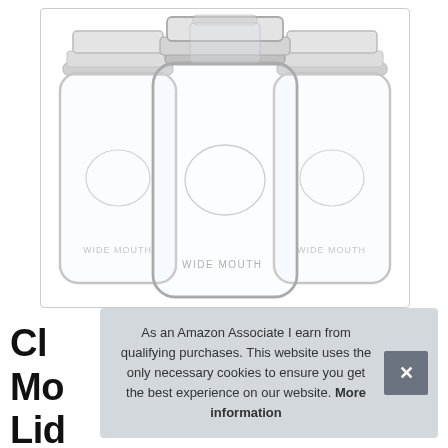[Figure (photo): Product photo of four clear glass wide-mouth mason jars with silver metal screw-top lids, arranged with one jar in the front center and three behind it, on a white background.]
Cle
Mo
Lid
As an Amazon Associate I earn from qualifying purchases. This website uses the only necessary cookies to ensure you get the best experience on our website. More information
...